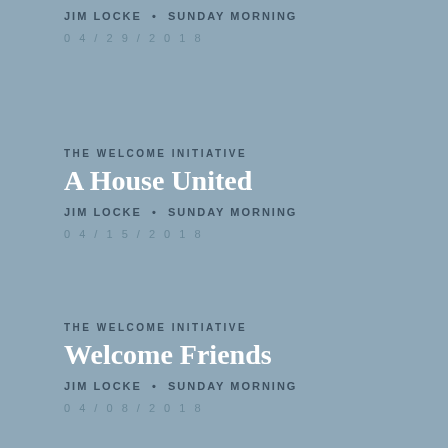JIM LOCKE • SUNDAY MORNING
04/29/2018
THE WELCOME INITIATIVE
A House United
JIM LOCKE • SUNDAY MORNING
04/15/2018
THE WELCOME INITIATIVE
Welcome Friends
JIM LOCKE • SUNDAY MORNING
04/08/2018